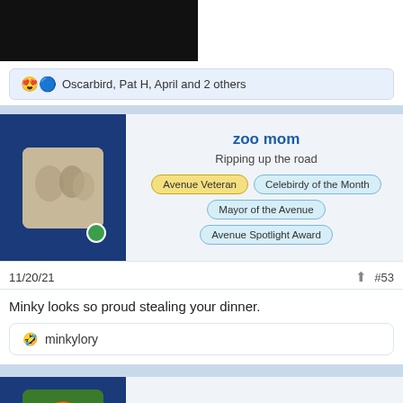[Figure (photo): Black/dark image bar at the top of the page (partially visible photo, cropped)]
😍🔵 Oscarbird, Pat H, April and 2 others
zoo mom
Ripping up the road
Avenue Veteran | Celebirdy of the Month | Mayor of the Avenue | Avenue Spotlight Award
11/20/21
#53
Minky looks so proud stealing your dinner.
🤣 minkylory
minkylory
Walking the driveway